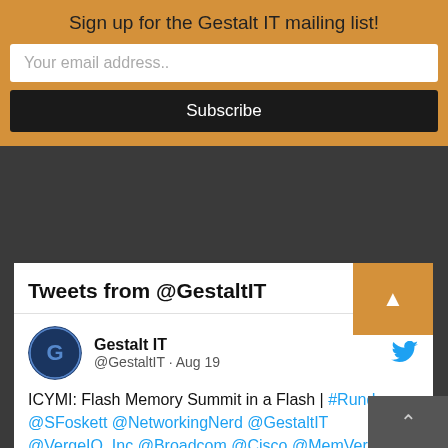Sign up for the Gestalt IT mailing list!
Your email address..
Subscribe
[Figure (screenshot): Twitter widget showing Tweets from @GestaltIT with a tweet by Gestalt IT (@GestaltIT) dated Aug 19 about Flash Memory Summit]
Tweets from @GestaltIT
Gestalt IT @GestaltIT · Aug 19
ICYMI: Flash Memory Summit in a Flash | #Rundown @SFoskett @NetworkingNerd @GestaltIT @VergeIO_Inc @Broadcom @Cisco @MemVerge @intel @Solidigm @CTOAdvisor #NIST #SIKE #HCI #GPU #Tomahawk #LAPSUS #FMS22 #CXL #VMwareExplore #TFDx #NFD29 #VMunderground tfd.bz/3SWODIU